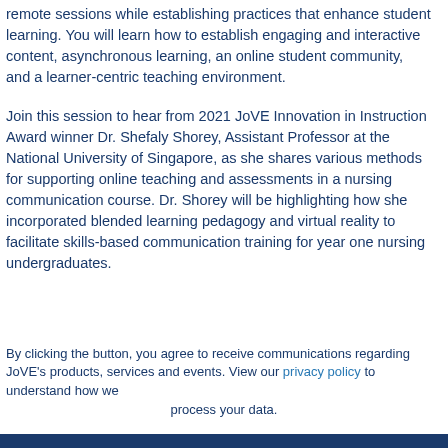remote sessions while establishing practices that enhance student learning. You will learn how to establish engaging and interactive content, asynchronous learning, an online student community,
and a learner-centric teaching environment.
Join this session to hear from 2021 JoVE Innovation in Instruction Award winner Dr. Shefaly Shorey, Assistant Professor at the National University of Singapore, as she shares various methods for supporting online teaching and assessments in a nursing communication course. Dr. Shorey will be highlighting how she incorporated blended learning pedagogy and virtual reality to facilitate skills-based communication training for year one nursing undergraduates.
By clicking the button, you agree to receive communications regarding JoVE's products, services and events. View our privacy policy to understand how we process your data.